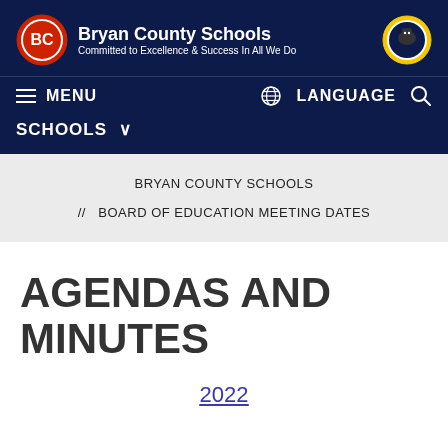[Figure (logo): Bryan County Schools header with logos and tagline on dark navy background]
MENU    LANGUAGE    [search icon]    SCHOOLS
BRYAN COUNTY SCHOOLS
// BOARD OF EDUCATION MEETING DATES
AGENDAS AND MINUTES
2022